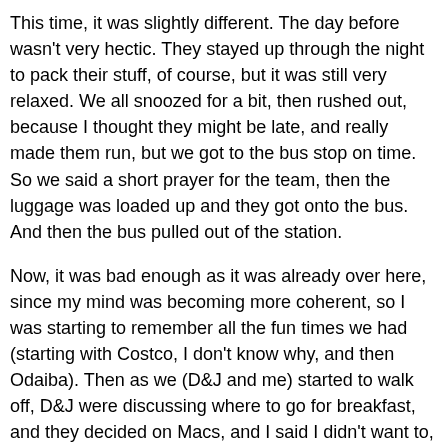This time, it was slightly different. The day before wasn't very hectic. They stayed up through the night to pack their stuff, of course, but it was still very relaxed. We all snoozed for a bit, then rushed out, because I thought they might be late, and really made them run, but we got to the bus stop on time. So we said a short prayer for the team, then the luggage was loaded up and they got onto the bus. And then the bus pulled out of the station.
Now, it was bad enough as it was already over here, since my mind was becoming more coherent, so I was starting to remember all the fun times we had (starting with Costco, I don't know why, and then Odaiba). Then as we (D&J and me) started to walk off, D&J were discussing where to go for breakfast, and they decided on Macs, and I said I didn't want to, then D turned to me, and said, "Well, ok then, I'll see you tomorrow at 3 at Mister Donut. Meeting M for Bible Study", and that was when it hit me.
You see, up till that point in time, almost everyday (except for the week of the OMF conference), the team had been meeting either D or J, if not both of them together, for